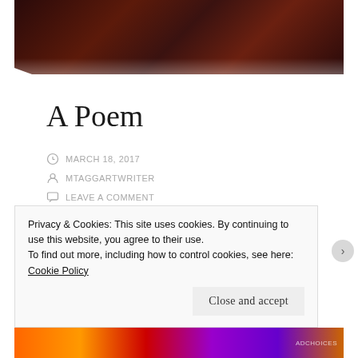[Figure (photo): Dark reddish-brown hero image at top of blog post, appears to be an abstract or nature photo]
A Poem
MARCH 18, 2017
MTAGGARTWRITER
LEAVE A COMMENT
A sound balances-
Privacy & Cookies: This site uses cookies. By continuing to use this website, you agree to their use.
To find out more, including how to control cookies, see here: Cookie Policy
Close and accept